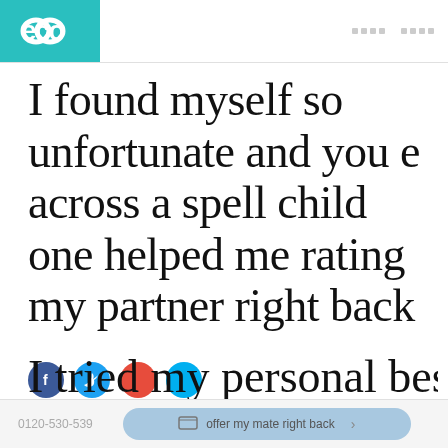[Figure (logo): eco logo in teal/green header box]
I found myself so unfortunate and you e across a spell child one helped me rating my partner right back
[Figure (infographic): Four social media share buttons: Facebook (blue), Twitter (light blue), red circle, light blue circle]
We and you will my personal boyfriend because the started round the more spell caster and you will these people were all not able to offer my mate right back
0120-530-539   offer my mate right back
I tried my personal best